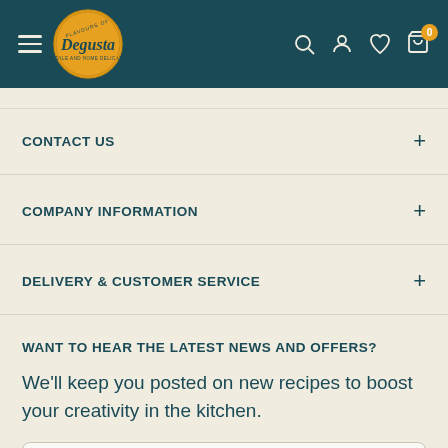[Figure (logo): Degusta logo — gold oval with script text 'Degusta' and subtitle 'Wholesale and Home Delicatessen', teal background navigation header with hamburger menu, search, account, wishlist, and cart icons (badge showing 0)]
CONTACT US
COMPANY INFORMATION
DELIVERY & CUSTOMER SERVICE
WANT TO HEAR THE LATEST NEWS AND OFFERS?
We'll keep you posted on new recipes to boost your creativity in the kitchen.
Your email